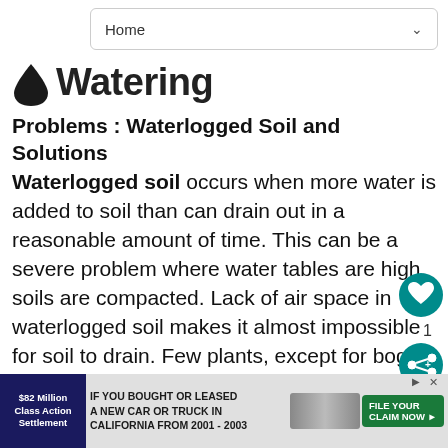Home
Watering
Problems : Waterlogged Soil and Solutions
Waterlogged soil occurs when more water is added to soil than can drain out in a reasonable amount of time. This can be a severe problem where water tables are high, soils are compacted. Lack of air space in waterlogged soil makes it almost impossible for soil to drain. Few plants, except for bog plants, can tolerate these conditions. Drainage can be improved if you are not satisfied with bog gardening. Over watered plants have the same symptoms as wilting...
[Figure (screenshot): UI overlay showing heart/like button (teal circle with heart icon), like count of 1, share button (teal circle with share icon)]
[Figure (screenshot): What's Next panel showing Kniphofia (Red-hot Pok...) with plant image thumbnail]
[Figure (screenshot): Advertisement banner: $82 Million Class Action Settlement - IF YOU BOUGHT OR LEASED A NEW CAR OR TRUCK IN CALIFORNIA FROM 2001-2003 - FILE YOUR CLAIM NOW]